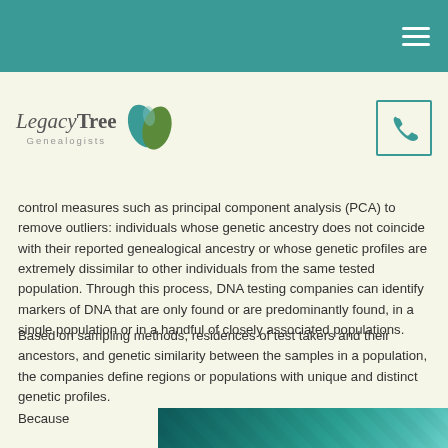Legacy Tree Genealogists — navigation header
[Figure (logo): Legacy Tree Genealogists logo with leaf graphic and phone icon]
control measures such as principal component analysis (PCA) to remove outliers: individuals whose genetic ancestry does not coincide with their reported genealogical ancestry or whose genetic profiles are extremely dissimilar to other individuals from the same tested population. Through this process, DNA testing companies can identify markers of DNA that are only found or are predominantly found, in a single population or in a handful of closely associated populations.
Based on sampling methods, residences of test takers and their ancestors, and genetic similarity between the samples in a population, the companies define regions or populations with unique and distinct genetic profiles.
Because
[Figure (photo): Partial photo visible at bottom right, appears teal/green colored, possibly DNA or genealogy related image]